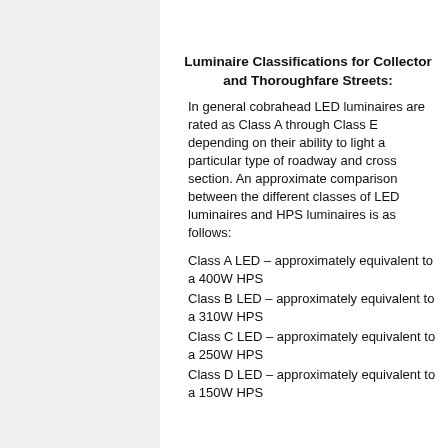Luminaire Classifications for Collector and Thoroughfare Streets:
In general cobrahead LED luminaires are rated as Class A through Class E depending on their ability to light a particular type of roadway and cross section. An approximate comparison between the different classes of LED luminaires and HPS luminaires is as follows:
Class A LED – approximately equivalent to a 400W HPS
Class B LED – approximately equivalent to a 310W HPS
Class C LED – approximately equivalent to a 250W HPS
Class D LED – approximately equivalent to a 150W HPS